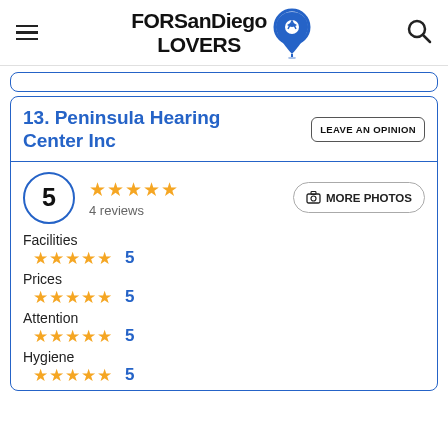FORSanDiego LOVERS
13. Peninsula Hearing Center Inc
LEAVE AN OPINION
5 · 4 reviews
MORE PHOTOS
Facilities ★★★★★ 5
Prices ★★★★★ 5
Attention ★★★★★ 5
Hygiene ★★★★★ 5